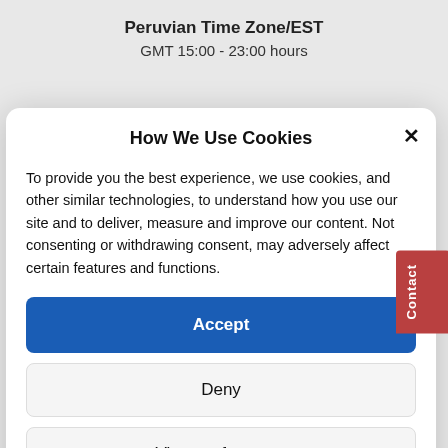Peruvian Time Zone/EST
GMT 15:00 - 23:00 hours
How We Use Cookies
To provide you the best experience, we use cookies, and other similar technologies, to understand how you use our site and to deliver, measure and improve our content. Not consenting or withdrawing consent, may adversely affect certain features and functions.
Accept
Deny
View preferences
Cookie Policy   Privacy Policy